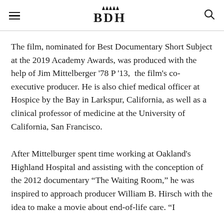BDH
The film, nominated for Best Documentary Short Subject at the 2019 Academy Awards, was produced with the help of Jim Mittelberger '78 P '13,  the film's co-executive producer. He is also chief medical officer at Hospice by the Bay in Larkspur, California, as well as a clinical professor of medicine at the University of California, San Francisco.
After Mittelburger spent time working at Oakland's Highland Hospital and assisting with the conception of the 2012 documentary “The Waiting Room,” he was inspired to approach producer William B. Hirsch with the idea to make a movie about end-of-life care. “I